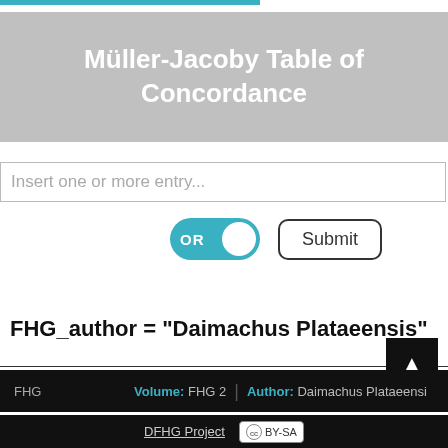Müller-Jacoby Table of Concordance
Insert one or more entry...
OR
Submit
FHG_author = "Daimachus Plataeensis"
FHG  Volume: FHG 2  Author: Daimachus Plataeensi
DFHG Project  (cc) BY-SA